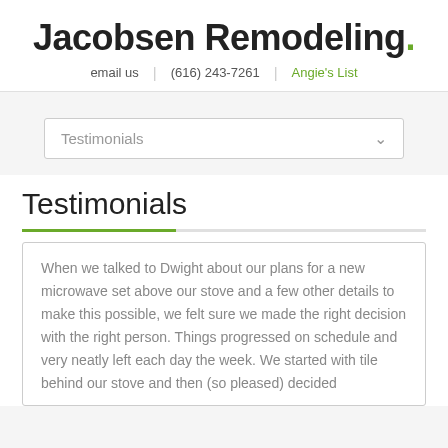Jacobsen Remodeling.
email us | (616) 243-7261 | Angie's List
Testimonials
Testimonials
When we talked to Dwight about our plans for a new microwave set above our stove and a few other details to make this possible, we felt sure we made the right decision with the right person. Things progressed on schedule and very neatly left each day the week. We started with tile behind our stove and then (so pleased) decided